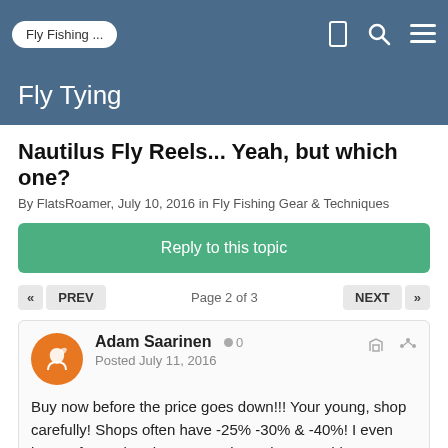Fly Fishing ...
Fly Tying
Nautilus Fly Reels... Yeah, but which one?
By FlatsRoamer, July 10, 2016 in Fly Fishing Gear & Techniques
Reply to this topic
« PREV   Page 2 of 3   NEXT »
Adam Saarinen  0
Posted July 11, 2016
Buy now before the price goes down!!! Your young, shop carefully! Shops often have -25% -30% & -40%! I even knew of one shop have a moving sale, everything -50%! Does it have to be today or tommorrow?